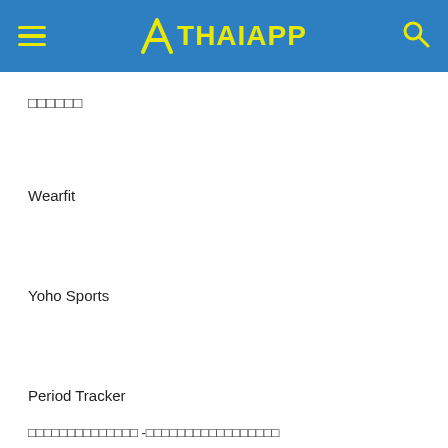THAIAPP
□□□□□□
Wearfit
Yoho Sports
Period Tracker
□□□□□□□□□□□□□□ -□□□□□□□□□□□□□□□□□